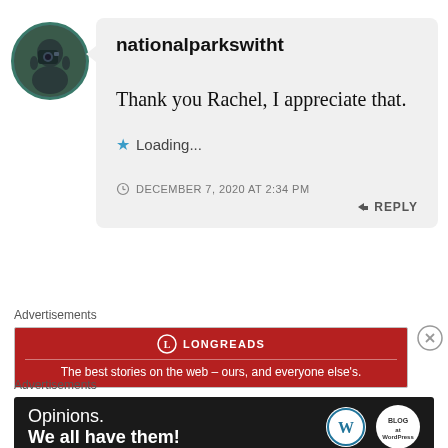[Figure (photo): Circular avatar photo of a person with a camera, with teal/green border]
nationalparkswitht
Thank you Rachel, I appreciate that.
★ Loading...
DECEMBER 7, 2020 AT 2:34 PM
↳ REPLY
Advertisements
[Figure (screenshot): Longreads advertisement banner - red background with Longreads logo and tagline: The best stories on the web - ours, and everyone else's.]
Advertisements
[Figure (screenshot): WordPress Opinions advertisement - dark background with text 'Opinions. We all have them!' and WordPress and Blog logos]